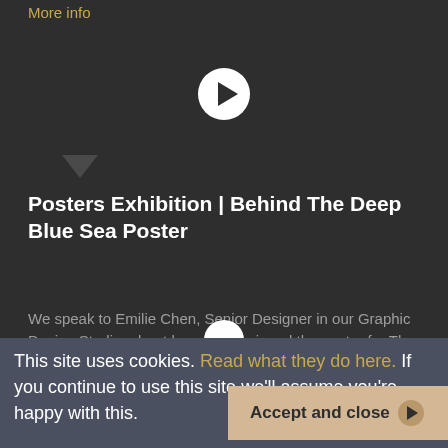More info
[Figure (screenshot): Play button circle with right-pointing triangle on dark background]
Posters Exhibition | Behind The Deep Blue Sea Poster
We speak to Emilie Chen, Senior Designer in our Graphic Design Studio, about how she designed the poster for The Deep Blue Sea, which now features in our Posters Exhibition.
More info
This site uses cookies. Read what they do here. If you continue to use this site we'll assume you're happy with this.
Accept and close